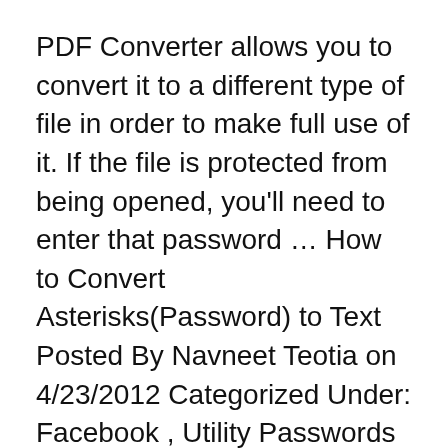PDF Converter allows you to convert it to a different type of file in order to make full use of it. If the file is protected from being opened, you'll need to enter that password … How to Convert Asterisks(Password) to Text Posted By Navneet Teotia on 4/23/2012 Categorized Under: Facebook , Utility Passwords are usually shown in the the form of asterisk (*) or the dots on each and every online site.
How to Convert Asterisks(Password) to Text TECHOTREAT. 14/04/2018 · This article will instruct you on how to convert Password Into Text Form. Note that this only works for Google Chrome.